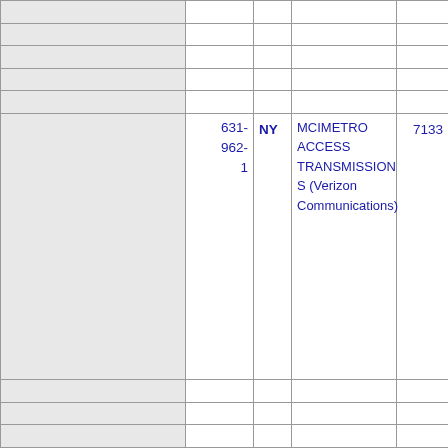|  | Phone | State | Carrier | ZIP | Address |
| --- | --- | --- | --- | --- | --- |
|  |  |  |  |  |  |
|  |  |  |  |  |  |
|  |  |  |  |  |  |
|  |  |  |  |  |  |
|  |  |  |  |  |  |
|  |  |  |  |  |  |
|  |  |  |  |  |  |
|  |  |  |  |  |  |
|  |  |  |  |  |  |
|  | 631-962-1 | NY | MCIMETRO ACCESS TRANSMISSIONS (Verizon Communications) | 7133 | FARM |
|  |  |  |  |  |  |
|  |  |  |  |  |  |